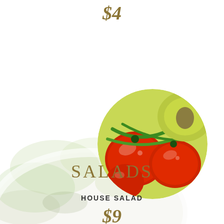$4
[Figure (photo): Faded background photo of a salad on a white plate with leafy greens]
[Figure (photo): Circular cropped photo of roasted cherry tomatoes with green beans and vegetables]
SALADS
HOUSE SALAD
$9